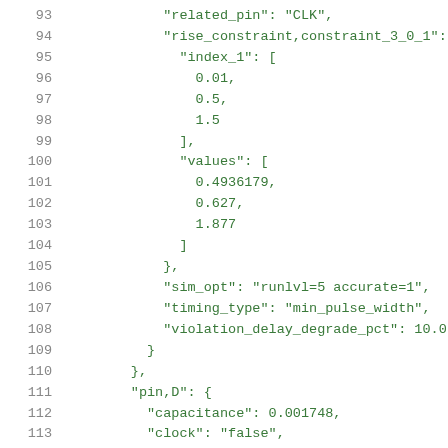93  "related_pin": "CLK",
94  "rise_constraint,constraint_3_0_1": {
95    "index_1": [
96      0.01,
97      0.5,
98      1.5
99    ],
100   "values": [
101     0.4936179,
102     0.627,
103     1.877
104   ]
105 },
106 "sim_opt": "runlvl=5 accurate=1",
107 "timing_type": "min_pulse_width",
108 "violation_delay_degrade_pct": 10.0
109 }
110 },
111 "pin,D": {
112   "capacitance": 0.001748,
113   "clock": "false",